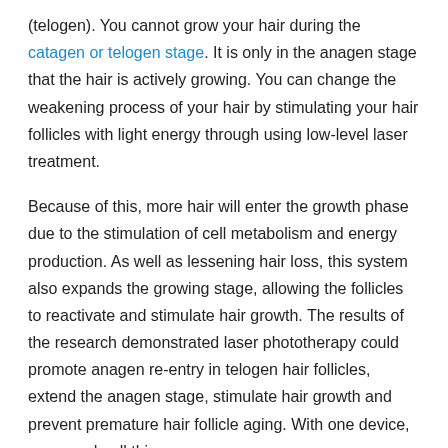(telogen). You cannot grow your hair during the catagen or telogen stage. It is only in the anagen stage that the hair is actively growing. You can change the weakening process of your hair by stimulating your hair follicles with light energy through using low-level laser treatment.
Because of this, more hair will enter the growth phase due to the stimulation of cell metabolism and energy production. As well as lessening hair loss, this system also expands the growing stage, allowing the follicles to reactivate and stimulate hair growth. The results of the research demonstrated laser phototherapy could promote anagen re-entry in telogen hair follicles, extend the anagen stage, stimulate hair growth and prevent premature hair follicle aging. With one device, you can do all this.
Things to consider before buying
With iRestore, you get medical-grade lasers and FDA-cleared light-